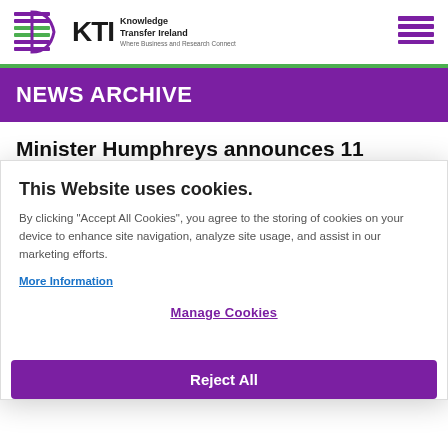[Figure (logo): KTI Knowledge Transfer Ireland logo with colored horizontal lines icon, tagline: Where Business and Research Connect]
[Figure (other): Hamburger menu icon with three purple horizontal bars]
NEWS ARCHIVE
Minister Humphreys announces 11 COVID-19 research and...
This Website uses cookies.
By clicking “Accept All Cookies”, you agree to the storing of cookies on your device to enhance site navigation, analyze site usage, and assist in our marketing efforts.
More Information
Manage Cookies
Reject All